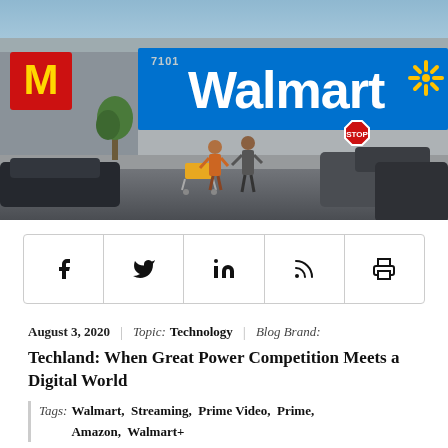[Figure (photo): Exterior photo of a Walmart store building with blue sign and yellow spark logo, McDonald's sign visible on the left, parking lot with cars and people in foreground]
[Figure (infographic): Social sharing icons bar with Facebook, Twitter, LinkedIn, RSS, and Print icons]
August 3, 2020 | Topic: Technology | Blog Brand: Techland: When Great Power Competition Meets a Digital World
Tags: Walmart, Streaming, Prime Video, Prime, Amazon, Walmart+